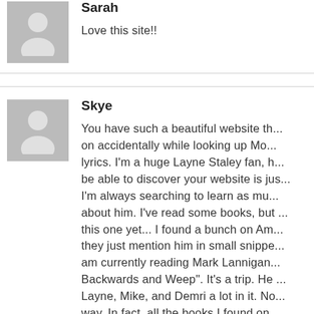Sarah
Love this site!!
Skye
You have such a beautiful website th... on accidentally while looking up Mo... lyrics. I'm a huge Layne Staley fan, h... be able to discover your website is jus... I'm always searching to learn as mu... about him. I've read some books, but ... this one yet... I found a bunch on Am... they just mention him in small snippe... am currently reading Mark Lannigan... Backwards and Weep". It's a trip. He ... Layne, Mike, and Demri a lot in it. No... way. In fact, all the books I found on...